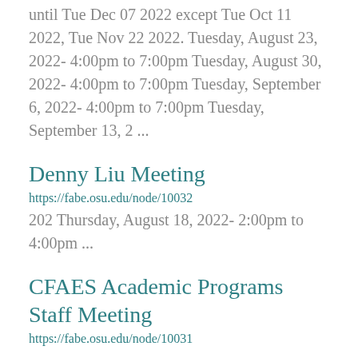until Tue Dec 07 2022 except Tue Oct 11 2022, Tue Nov 22 2022. Tuesday, August 23, 2022- 4:00pm to 7:00pm Tuesday, August 30, 2022- 4:00pm to 7:00pm Tuesday, September 6, 2022- 4:00pm to 7:00pm Tuesday, September 13, 2 ...
Denny Liu Meeting
https://fabe.osu.edu/node/10032
202 Thursday, August 18, 2022- 2:00pm to 4:00pm ...
CFAES Academic Programs Staff Meeting
https://fabe.osu.edu/node/10031